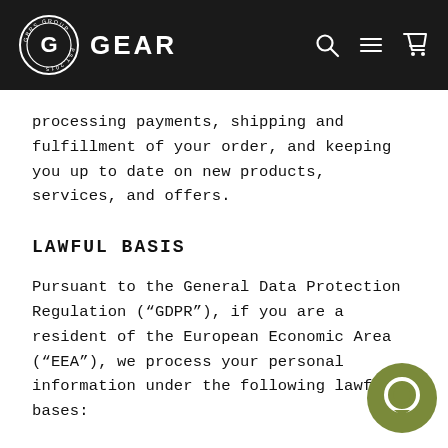GEAR
processing payments, shipping and fulfillment of your order, and keeping you up to date on new products, services, and offers.
LAWFUL BASIS
Pursuant to the General Data Protection Regulation (“GDPR”), if you are a resident of the European Economic Area (“EEA”), we process your personal information under the following lawful bases: